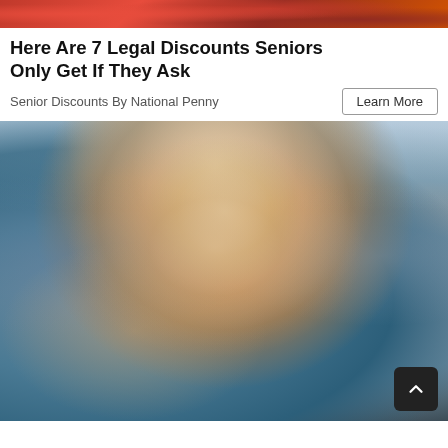[Figure (photo): Partial view of a floral red/pink background image cropped at top]
Here Are 7 Legal Discounts Seniors Only Get If They Ask
Senior Discounts By National Penny
[Figure (photo): Close-up photo of a young blonde woman with grey-streaked hair rubbing her eye with her hand, wearing a black top, blurred urban background]
Learn More